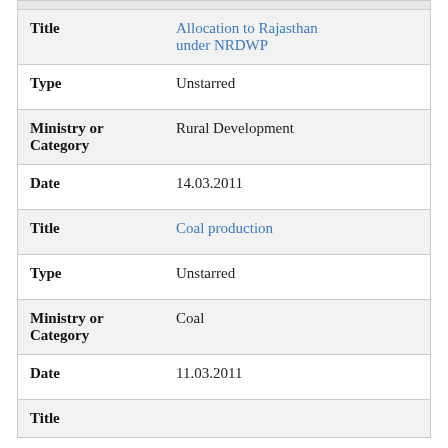| Field | Value |
| --- | --- |
| Title | Allocation to Rajasthan under NRDWP |
| Type | Unstarred |
| Ministry or Category | Rural Development |
| Date | 14.03.2011 |
| Title | Coal production |
| Type | Unstarred |
| Ministry or Category | Coal |
| Date | 11.03.2011 |
| Title |  |